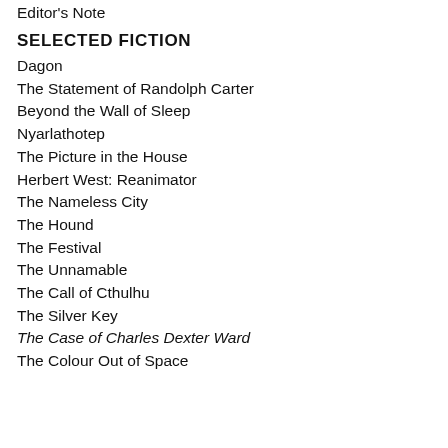Editor's Note
SELECTED FICTION
Dagon
The Statement of Randolph Carter
Beyond the Wall of Sleep
Nyarlathotep
The Picture in the House
Herbert West: Reanimator
The Nameless City
The Hound
The Festival
The Unnamable
The Call of Cthulhu
The Silver Key
The Case of Charles Dexter Ward
The Colour Out of Space